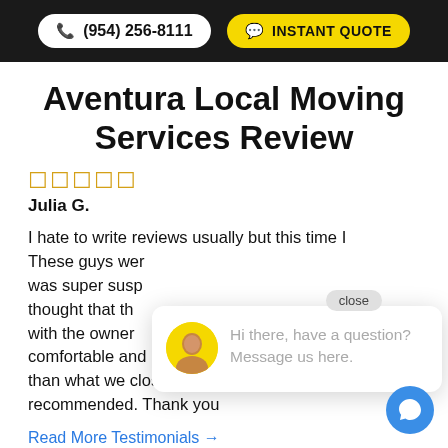(954) 256-8111  INSTANT QUOTE
Aventura Local Moving Services Review
★★★★★
Julia G.
I hate to write reviews usually but this time I had to. These guys were amazing!! At first the price was super suspicious so cheap but then we thought that the deal is a total scam. Talked with the owner and he made me feel very comfortable and didn't charge me one dollar more than what we close over the phone. Highly recommended. Thank you
Read More Testimonials →
[Figure (screenshot): Live chat popup with avatar of a woman and message: Hi there, have a question? Message us here. Close button pill visible.]